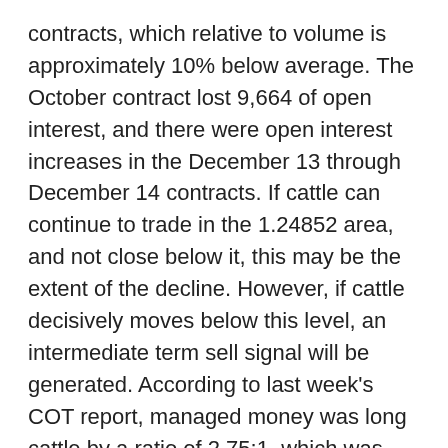contracts, which relative to volume is approximately 10% below average. The October contract lost 9,664 of open interest, and there were open interest increases in the December 13 through December 14 contracts. If cattle can continue to trade in the 1.24852 area, and not close below it, this may be the extent of the decline. However, if cattle decisively moves below this level, an intermediate term sell signal will be generated. According to last week's COT report, managed money was long cattle by a ratio of 2.75:1, which was just off the high made the previous week of 2.90:1. As we have stated in a number of reports, managed money is going to add fuel for a further downside move. Despite being on a short and intermediate term buy signal since August 8, we